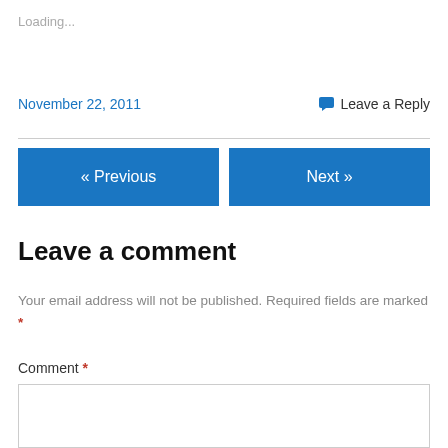Loading...
November 22, 2011
Leave a Reply
« Previous
Next »
Leave a comment
Your email address will not be published. Required fields are marked *
Comment *